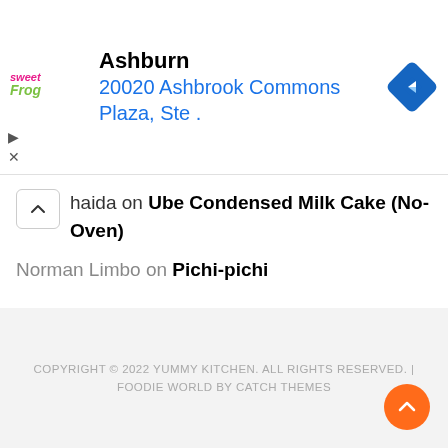[Figure (screenshot): sweetFrog advertisement banner showing Ashburn location at 20020 Ashbrook Commons Plaza, Ste. with navigation icon]
haida on Ube Condensed Milk Cake (No-Oven)
Norman Limbo on Pichi-pichi
ANALYTICS
COPYRIGHT © 2022 YUMMY KITCHEN. ALL RIGHTS RESERVED. | FOODIE WORLD BY CATCH THEMES